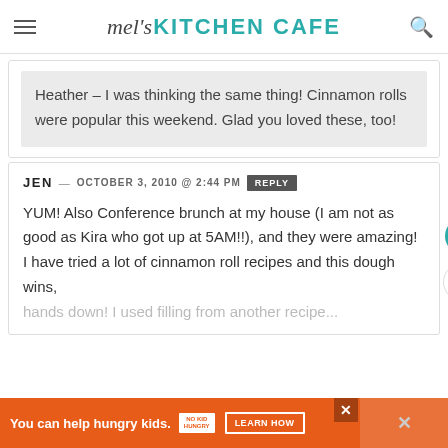mel's KITCHEN CAFE
Heather – I was thinking the same thing! Cinnamon rolls were popular this weekend. Glad you loved these, too!
JEN — OCTOBER 3, 2010 @ 2:44 PM  REPLY
YUM! Also Conference brunch at my house (I am not as good as Kira who got up at 5AM!!), and they were amazing! I have tried a lot of cinnamon roll recipes and this dough wins, hands down! I used filling from another recipe...
You can help hungry kids.  NO KID HUNGRY  LEARN HOW